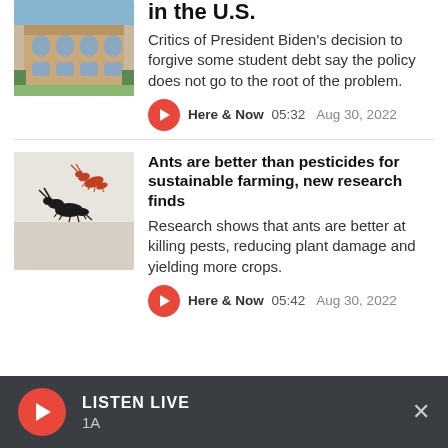in the U.S.
Critics of President Biden's decision to forgive some student debt say the policy does not go to the root of the problem.
Here & Now  05:32  Aug 30, 2022
Ants are better than pesticides for sustainable farming, new research finds
Research shows that ants are better at killing pests, reducing plant damage and yielding more crops.
Here & Now  05:42  Aug 30, 2022
LISTEN LIVE  1A